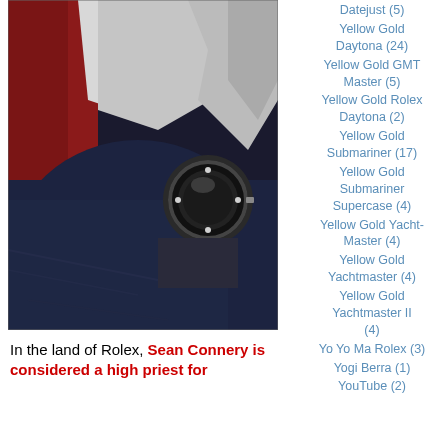[Figure (photo): Close-up photo of a person wearing a dark jacket with a Rolex watch visible on the wrist, with a red and white background element.]
Datejust (5)
Yellow Gold Daytona (24)
Yellow Gold GMT Master (5)
Yellow Gold Rolex Daytona (2)
Yellow Gold Submariner (17)
Yellow Gold Submariner Supercase (4)
Yellow Gold Yacht-Master (4)
Yellow Gold Yachtmaster (4)
Yellow Gold Yachtmaster II (4)
Yo Yo Ma Rolex (3)
Yogi Berra (1)
YouTube (2)
In the land of Rolex, Sean Connery is considered a high priest for